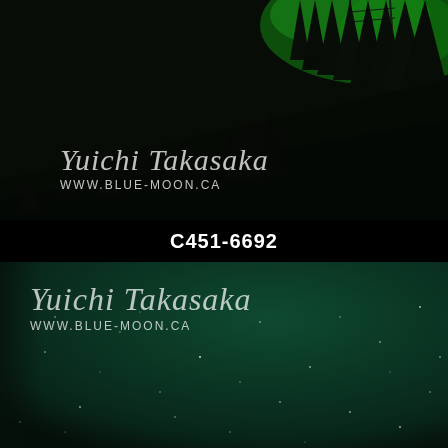[Figure (photo): Night landscape photograph with dark conifer forest silhouette against a sky with green aurora borealis glow in the upper right. Watermark reads 'Yuichi Takasaka' in script and 'WWW.BLUE-MOON.CA' below.]
C451-6692
[Figure (photo): Night sky photograph showing a dark teal/green sky with scattered stars, possibly aurora borealis. Watermark reads 'Yuichi Takasaka' in script and 'WWW.BLUE-MOON.CA' below.]